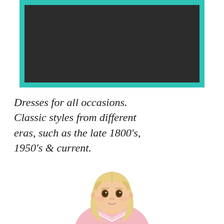[Figure (photo): A teal/turquoise bordered frame containing a dark (nearly black) rectangular interior — appears to be a decorative picture frame or chalkboard element at the top of the page.]
Dresses for all occasions. Classic styles from different eras, such as the late 1800's, 1950's & current.
[Figure (photo): A blonde-haired doll with brown eyes wearing a pink outfit, shown from the shoulders up, centered on the lower portion of the page.]